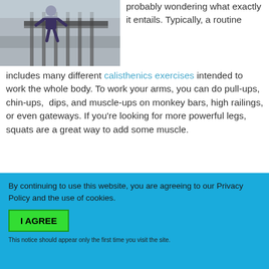[Figure (photo): Person doing calisthenics near outdoor railings/bars on a city street]
probably wondering what exactly it entails. Typically, a routine includes many different calisthenics exercises intended to work the whole body. To work your arms, you can do pull-ups, chin-ups, dips, and muscle-ups on monkey bars, high railings, or even gateways. If you're looking for more powerful legs, squats are a great way to add some muscle.
Once you've mastered these techniques, it's time to move on to static holds, also know as isometrics.
By continuing to use this website, you are agreeing to our Privacy Policy and the use of cookies.
I AGREE
This notice should appear only the first time you visit the site.